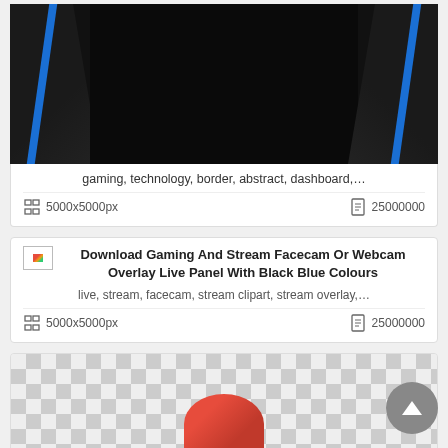[Figure (illustration): Gaming border overlay graphic with black background and blue accent panels on left and right sides]
gaming, technology, border, abstract, dashboard,…
5000x5000px   25000000
Download Gaming And Stream Facecam Or Webcam Overlay Live Panel With Black Blue Colours
live, stream, facecam, stream clipart, stream overlay,…
5000x5000px   25000000
[Figure (illustration): Checkerboard transparency pattern background with partial view of a gaming or racing helmet graphic in red/white]